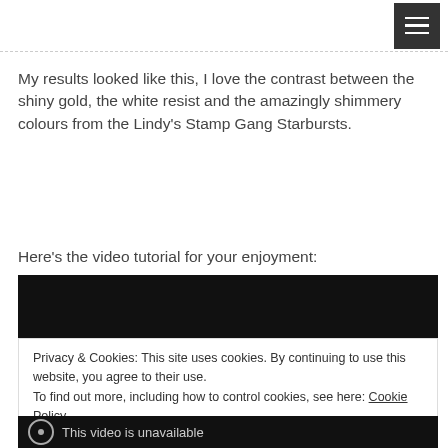[Menu button]
My results looked like this, I love the contrast between the shiny gold, the white resist and the amazingly shimmery colours from the Lindy's Stamp Gang Starbursts.
Here's the video tutorial for your enjoyment:
[Figure (screenshot): Embedded video player with black background]
Privacy & Cookies: This site uses cookies. By continuing to use this website, you agree to their use.
To find out more, including how to control cookies, see here: Cookie Policy
Close and accept
This video is unavailable